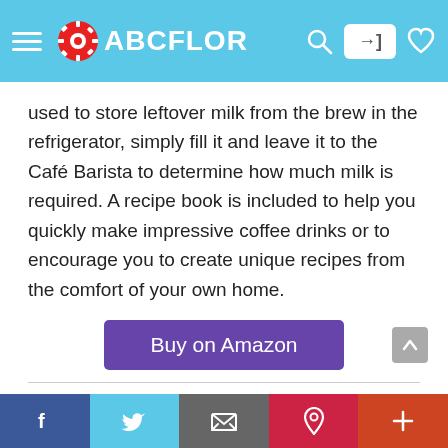ABCFLOR
used to store leftover milk from the brew in the refrigerator, simply fill it and leave it to the Café Barista to determine how much milk is required. A recipe book is included to help you quickly make impressive coffee drinks or to encourage you to create unique recipes from the comfort of your own home.
Buy on Amazon
9. Brain Specimen Coasters
f  twitter  email  p  +